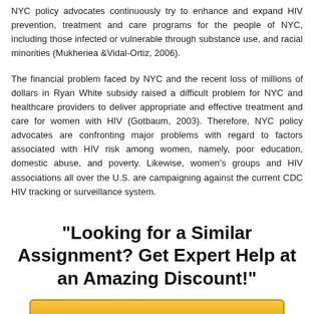NYC policy advocates continuously try to enhance and expand HIV prevention, treatment and care programs for the people of NYC, including those infected or vulnerable through substance use, and racial minorities (Mukheriea &Vidal-Ortiz, 2006).
The financial problem faced by NYC and the recent loss of millions of dollars in Ryan White subsidy raised a difficult problem for NYC and healthcare providers to deliver appropriate and effective treatment and care for women with HIV (Gotbaum, 2003). Therefore, NYC policy advocates are confronting major problems with regard to factors associated with HIV risk among women, namely, poor education, domestic abuse, and poverty. Likewise, women's groups and HIV associations all over the U.S. are campaigning against the current CDC HIV tracking or surveillance system.
"Looking for a Similar Assignment? Get Expert Help at an Amazing Discount!"